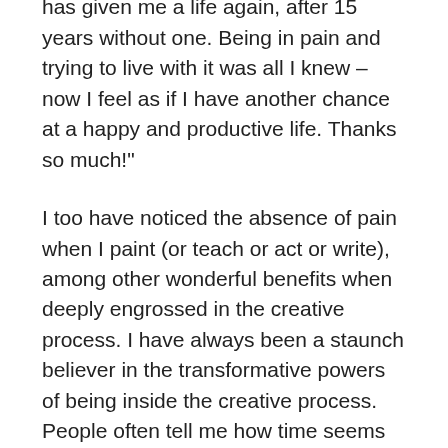feel like the sky is the limit. Painting has given me a life again, after 15 years without one. Being in pain and trying to live with it was all I knew – now I feel as if I have another chance at a happy and productive life. Thanks so much!"
I too have noticed the absence of pain when I paint (or teach or act or write), among other wonderful benefits when deeply engrossed in the creative process. I have always been a staunch believer in the transformative powers of being inside the creative process. People often tell me how time seems to pass so quickly when painting, etc. Why is this? I think when humans take the focus off themselves, give their ego a rest, we are literally transported to another spiritual plane. The deeper our study, our inquiry, the deeper our concentration, the more amazing this time travel phenomenon becomes. It actually lessons physical (and emotional) pain, because it takes our focus completely outside of ourselves. With a little structured